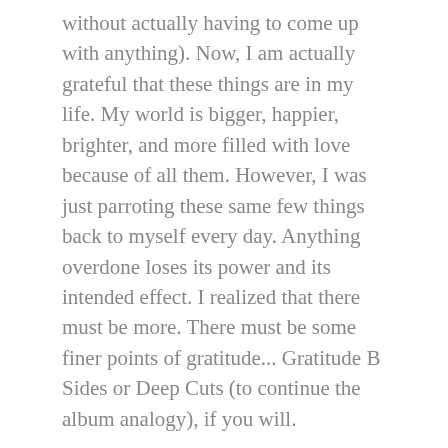without actually having to come up with anything). Now, I am actually grateful that these things are in my life. My world is bigger, happier, brighter, and more filled with love because of all them. However, I was just parroting these same few things back to myself every day. Anything overdone loses its power and its intended effect. I realized that there must be more. There must be some finer points of gratitude... Gratitude B Sides or Deep Cuts (to continue the album analogy), if you will.
And so, I've spent the last two mornings looking for the lesser appreciated moments in my life. The smaller things. The little instances that are bright and beautiful and perfect. Taking the time to zero in on new and less obvious things has helped me to feel more connected and truly appreciative.